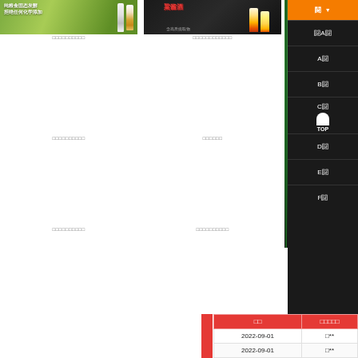[Figure (photo): Product advertisement image on left - green background with Chinese text '纯粮食固态发酵 拒绝任何化学添加' and bottle]
□□□□□□□□□□
[Figure (photo): Product advertisement image on right - dark background with liquor product '粱酱酒' and bottles]
□□□□□□□□□□□□
□□□□□□□□□□
□□□□□□
□□□□□□□□□□
□□□□□□□□□□
[Figure (photo): Side panel with green bottle on dark green/black background]
[Figure (screenshot): Right navigation panel with orange and dark items: 闘, 闘A闘, A闘, B闘, C闘, TOP, D闘, E闘]
| □□ | □□□□□ |
| --- | --- |
| 2022-09-01 | □** |
| 2022-09-01 | □** |
| 2022-09-01 | □** |